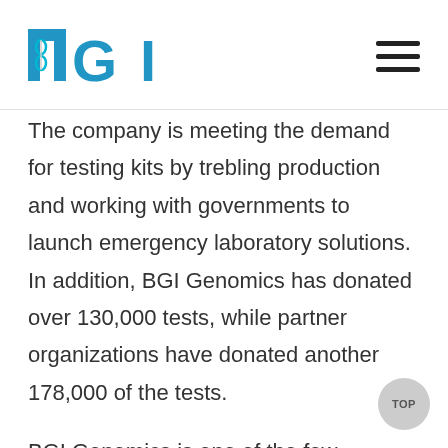MGI
The company is meeting the demand for testing kits by trebling production and working with governments to launch emergency laboratory solutions. In addition, BGI Genomics has donated over 130,000 tests, while partner organizations have donated another 178,000 of the tests.
BGI Genomics is one of the few companies globally that has products recognized as officially approved for use in China, the European Union, the United States, and Japan. RT-PCR Test for